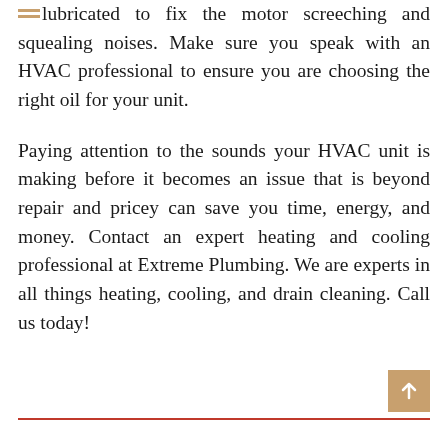lubricated to fix the motor screeching and squealing noises. Make sure you speak with an HVAC professional to ensure you are choosing the right oil for your unit.

Paying attention to the sounds your HVAC unit is making before it becomes an issue that is beyond repair and pricey can save you time, energy, and money. Contact an expert heating and cooling professional at Extreme Plumbing. We are experts in all things heating, cooling, and drain cleaning. Call us today!